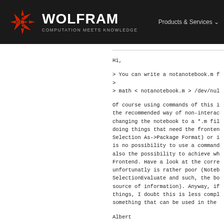WOLFRAM COMPUTATION MEETS KNOWLEDGE | Products & Services
Hi,

> You can write a notanotebook.m f
>
> math < notanotebook.m > /dev/nul

Of course using commands of this i the recommended way of non-interac changing the notebook to a *.m fil doing things that need the fronten Selection As->Package Format) or i is no possibility to use a command also the possibility to achieve wh Frontend. Have a look at the corre unfortunatly is rather poor (Noteb SelectionEvaluate and such, the bo source of information). Anyway, if things, I doubt this is less compl something that can be used in the

Albert